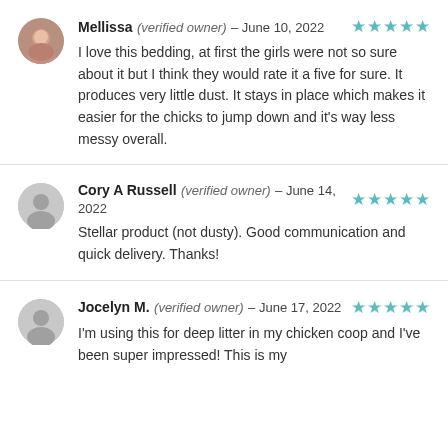Mellissa (verified owner) – June 10, 2022 ★★★★★
I love this bedding, at first the girls were not so sure about it but I think they would rate it a five for sure. It produces very little dust. It stays in place which makes it easier for the chicks to jump down and it's way less messy overall.
Cory A Russell (verified owner) – June 14, 2022 ★★★★★
Stellar product (not dusty). Good communication and quick delivery. Thanks!
Jocelyn M. (verified owner) – June 17, 2022 ★★★★★
I'm using this for deep litter in my chicken coop and I've been super impressed! This is my